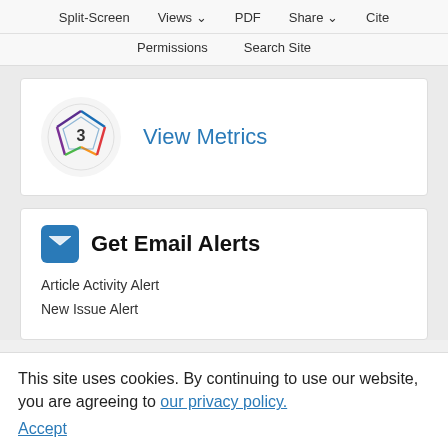Split-Screen  Views  PDF  Share  Cite  Permissions  Search Site
[Figure (logo): Altmetric badge showing colored pentagon shape with number 3 inside, representing article metrics]
View Metrics
Get Email Alerts
Article Activity Alert
New Issue Alert
This site uses cookies. By continuing to use our website, you are agreeing to our privacy policy. Accept
Cited By